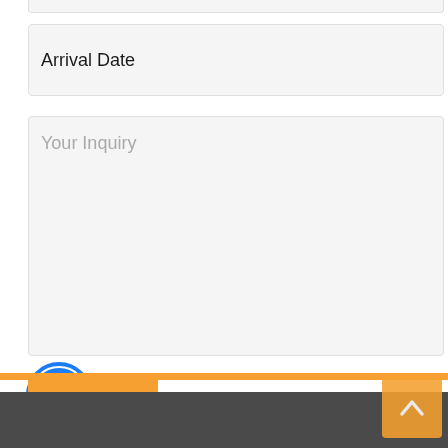[Figure (screenshot): Top partial input field stub visible at the very top of the page]
Arrival Date
Your Inquiry
[Figure (logo): Facebook Messenger icon - blue circle with white lightning bolt/chat icon]
Submit
[Figure (other): Orange horizontal stripe at bottom, scroll-to-top button with upward chevron in bottom right, dark footer bar at very bottom]